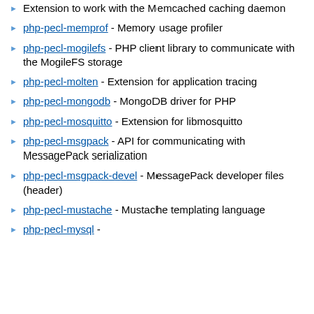Extension to work with the Memcached caching daemon
php-pecl-memprof - Memory usage profiler
php-pecl-mogilefs - PHP client library to communicate with the MogileFS storage
php-pecl-molten - Extension for application tracing
php-pecl-mongodb - MongoDB driver for PHP
php-pecl-mosquitto - Extension for libmosquitto
php-pecl-msgpack - API for communicating with MessagePack serialization
php-pecl-msgpack-devel - MessagePack developer files (header)
php-pecl-mustache - Mustache templating language
php-pecl-mysql -